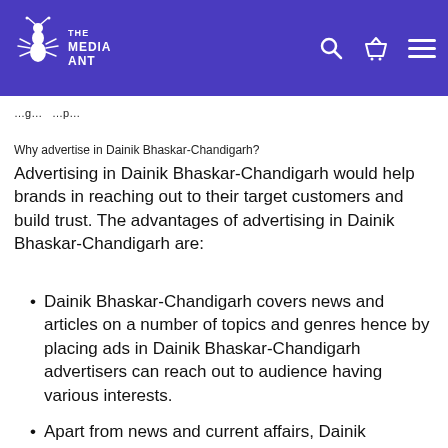The Media Ant
Why advertise in Dainik Bhaskar-Chandigarh?
Advertising in Dainik Bhaskar-Chandigarh would help brands in reaching out to their target customers and build trust. The advantages of advertising in Dainik Bhaskar-Chandigarh are:
Dainik Bhaskar-Chandigarh covers news and articles on a number of topics and genres hence by placing ads in Dainik Bhaskar-Chandigarh advertisers can reach out to audience having various interests.
Apart from news and current affairs, Dainik Bhaskar-Chandigarh also has a number of supplements on topics like city and its people